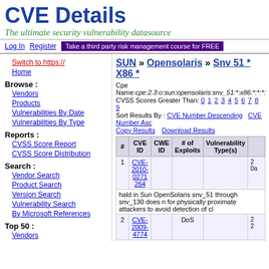CVE Details
The ultimate security vulnerability datasource
Log In   Register   Take a third party risk management course for FREE
Switch to https://
Home
Browse :
Vendors
Products
Vulnerabilities By Date
Vulnerabilities By Type
Reports :
CVSS Score Report
CVSS Score Distribution
Search :
Vendor Search
Product Search
Version Search
Vulnerability Search
By Microsoft References
Top 50 :
Vendors
Vendor Cvss Scores
SUN » Opensolaris » Snv 51 * X86 *
Cpe Name:cpe:2.3:o:sun:opensolaris:snv_51:*:x86:*:*:*:
CVSS Scores Greater Than: 0 1 2 3 4 5 6 7 8 9
Sort Results By : CVE Number Descending   CVE Number Asc
Copy Results   Download Results
| # | CVE ID | CWE ID | # of Exploits | Vulnerability Type(s) |  |
| --- | --- | --- | --- | --- | --- |
| 1 | CVE-2010-0271 264 |  |  |  | 2․0a |
|  | hald in Sun OpenSolaris snv_51 through snv_130 does n for physically proximate attackers to avoid detection of cl |  |  |  |  |
| 2 | CVE-2009-4774 |  | DoS |  | 2․2 |
|  | Unspecified vulnerability in Sun Solaris 10 and OpenSola configured, allows local users to cause a denial of servic |  |  |  |  |
| 3 | CVE-2009-3839 |  | Exec Code |  | 2 |